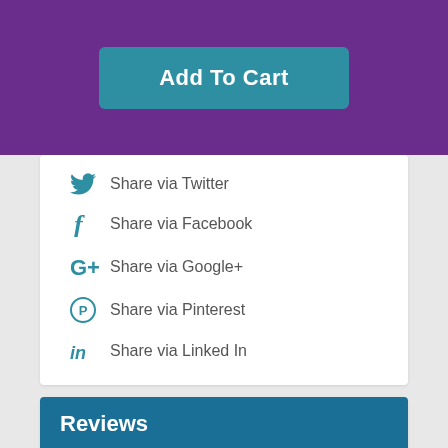[Figure (other): Purple banner with 'Add To Cart' teal button]
Share via Twitter
Share via Facebook
Share via Google+
Share via Pinterest
Share via Linked In
Reviews
Veena Mania — 5 stars